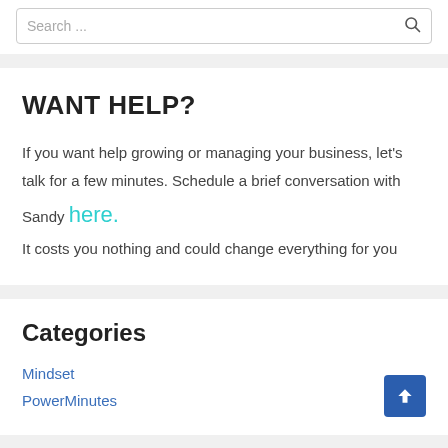Search ...
WANT HELP?
If you want help growing or managing your business, let's talk for a few minutes. Schedule a brief conversation with Sandy here. It costs you nothing and could change everything for you
Categories
Mindset
PowerMinutes